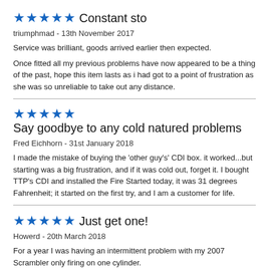★★★★★ Constant sto
triumphmad - 13th November 2017
Service was brilliant, goods arrived earlier then expected.
Once fitted all my previous problems have now appeared to be a thing of the past, hope this item lasts as i had got to a point of frustration as she was so unreliable to take out any distance.
★★★★★ Say goodbye to any cold natured problems
Fred Eichhorn - 31st January 2018
I made the mistake of buying the 'other guy's' CDI box. it worked...but starting was a big frustration, and if it was cold out, forget it. I bought TTP's CDI and installed the Fire Started today, it was 31 degrees Fahrenheit; it started on the first try, and I am a customer for life.
★★★★★ Just get one!
Howerd - 20th March 2018
For a year I was having an intermittent problem with my 2007 Scrambler only firing on one cylinder.